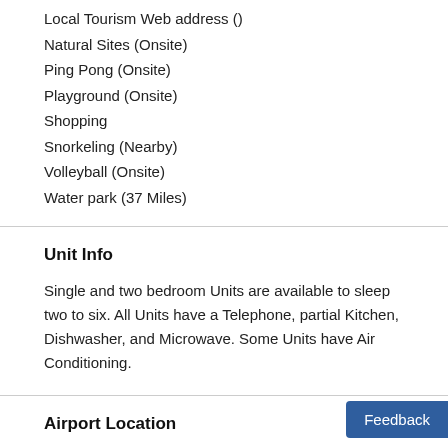Local Tourism Web address ()
Natural Sites (Onsite)
Ping Pong (Onsite)
Playground (Onsite)
Shopping
Snorkeling (Nearby)
Volleyball (Onsite)
Water park (37 Miles)
Unit Info
Single and two bedroom Units are available to sleep two to six. All Units have a Telephone, partial Kitchen, Dishwasher, and Microwave. Some Units have Air Conditioning.
Airport Location
Faro - FAO (31 Miles)
BY AIR: Faro - 50km BY ROAD: From the airport drive for 3kn